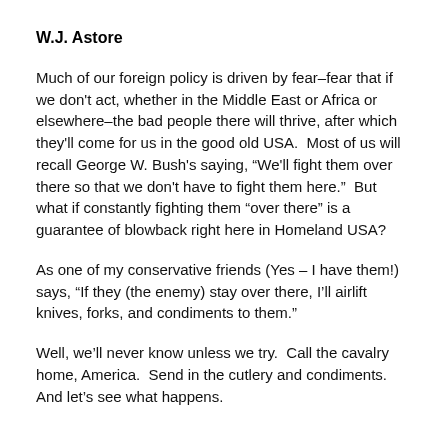W.J. Astore
Much of our foreign policy is driven by fear–fear that if we don't act, whether in the Middle East or Africa or elsewhere–the bad people there will thrive, after which they'll come for us in the good old USA.  Most of us will recall George W. Bush's saying, “We'll fight them over there so that we don't have to fight them here.”  But what if constantly fighting them “over there” is a guarantee of blowback right here in Homeland USA?
As one of my conservative friends (Yes – I have them!) says, “If they (the enemy) stay over there, I’ll airlift knives, forks, and condiments to them.”
Well, we’ll never know unless we try.  Call the cavalry home, America.  Send in the cutlery and condiments.  And let’s see what happens.